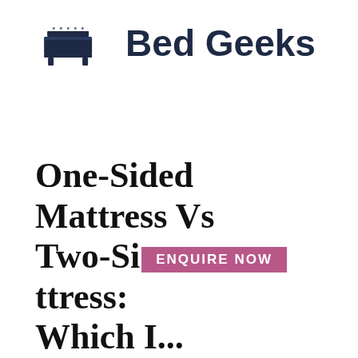[Figure (logo): Bed Geeks logo: a dark navy bed/mattress icon with stars on top and legs at bottom, followed by the text 'Bed Geeks' in bold dark navy font]
One-Sided Mattress Vs Two-Sided Mattress: Which Is...